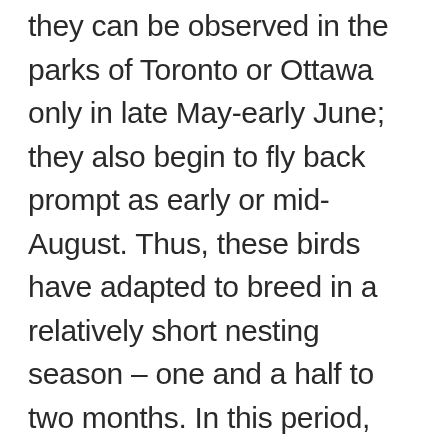they can be observed in the parks of Toronto or Ottawa only in late May-early June; they also begin to fly back prompt as early or mid-August. Thus, these birds have adapted to breed in a relatively short nesting season – one and a half to two months. In this period, they need to form pairs, find nesting territories, lay clutches, hatch, and raise chicks. Therefore, the size of clutches in migratory American warblers is quite large, they incubate up to 6-7 eggs and then feed large broods. For comparison, the tropical warblers from the same family usually have